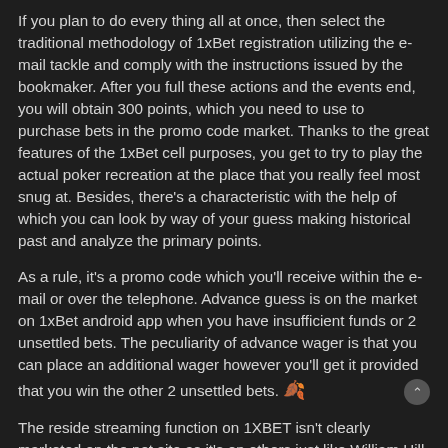If you plan to do every thing all at once, then select the traditional methodology of 1xBet registration utilizing the e-mail tackle and comply with the instructions issued by the bookmaker. After you full these actions and the events end, you will obtain 300 points, which you need to use to purchase bets in the promo code market. Thanks to the great features of the 1xBet cell purposes, you get to try to play the actual poker recreation at the place that you really feel most snug at. Besides, there's a characteristic with the help of which you can look by way of your guess making historical past and analyze the primary points.
As a rule, it's a promo code which you'll receive within the e-mail or over the telephone. Advance guess is on the market on 1xBet android app when you have insufficient funds or 2 unsettled bets. The peculiarity of advance wager is that you can place an additional wager however you'll get it provided that you win the other 2 unsettled bets. 🍂
The reside streaming function on 1XBET isn't clearly marketed on the net site as it's on others just like William Hill and Bet365. Only bets positioned using precise money shall be included on this supply. 1xBet bonus account is available available available on the market not solely from the website online nonetheless inside